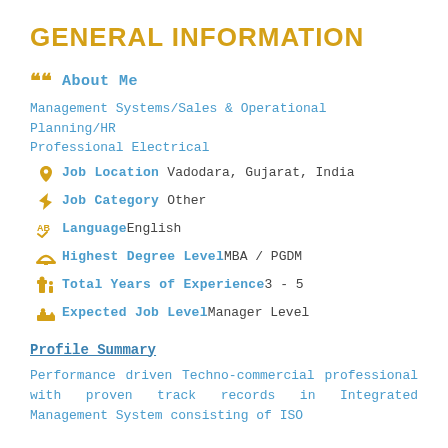GENERAL INFORMATION
About Me
Management Systems/Sales & Operational Planning/HR
Professional Electrical
Job Location Vadodara, Gujarat, India
Job Category Other
Language English
Highest Degree Level MBA / PGDM
Total Years of Experience 3 - 5
Expected Job Level Manager Level
Profile Summary
Performance driven Techno-commercial professional with proven track records in Integrated Management System consisting of ISO